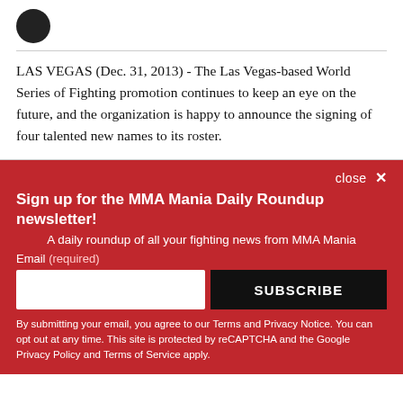[Figure (logo): Black circle logo]
LAS VEGAS (Dec. 31, 2013) - The Las Vegas-based World Series of Fighting promotion continues to keep an eye on the future, and the organization is happy to announce the signing of four talented new names to its roster.
close ×
Sign up for the MMA Mania Daily Roundup newsletter!
A daily roundup of all your fighting news from MMA Mania
Email (required)
SUBSCRIBE
By submitting your email, you agree to our Terms and Privacy Notice. You can opt out at any time. This site is protected by reCAPTCHA and the Google Privacy Policy and Terms of Service apply.